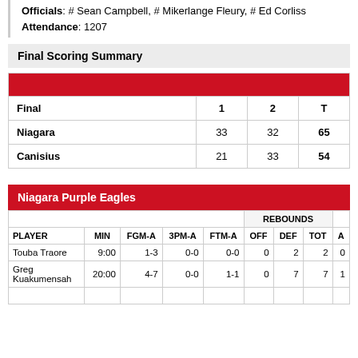Officials: # Sean Campbell, # Mikerlange Fleury, # Ed Corliss
Attendance: 1207
Final Scoring Summary
| Final | 1 | 2 | T |
| --- | --- | --- | --- |
| Niagara | 33 | 32 | 65 |
| Canisius | 21 | 33 | 54 |
Niagara Purple Eagles
| PLAYER | MIN | FGM-A | 3PM-A | FTM-A | OFF | DEF | TOT | A |
| --- | --- | --- | --- | --- | --- | --- | --- | --- |
| Touba Traore | 9:00 | 1-3 | 0-0 | 0-0 | 0 | 2 | 2 | 0 |
| Greg Kuakumensah | 20:00 | 4-7 | 0-0 | 1-1 | 0 | 7 | 7 | 1 |